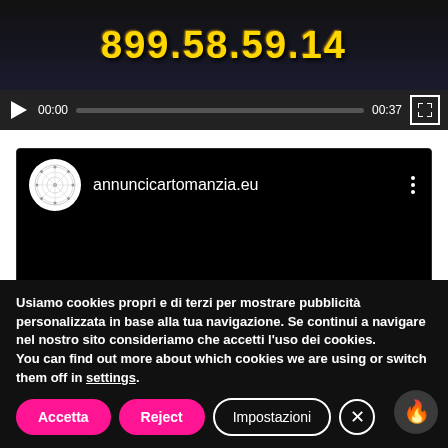[Figure (screenshot): Video player showing thumbnail with gold number '899.58.59.14' on dark starry background, with playback controls showing 00:00 / 00:37]
[Figure (screenshot): Embedded video card with circular zodiac avatar and title 'annuncicartomanzia.eu' on black background with three-dot menu]
Usiamo cookies propri e di terzi per mostrare pubblicità personalizzata in base alla tua navigazione. Se continui a navigare nel nostro sito consideriamo che accetti l'uso dei cookies.
You can find out more about which cookies we are using or switch them off in settings.